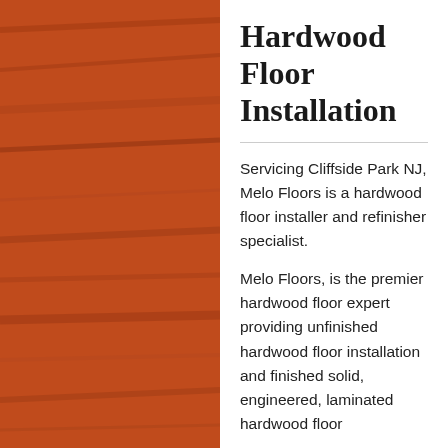[Figure (photo): Background photo of reddish-orange hardwood floor planks with visible wood grain texture, spanning the full page behind a white content panel.]
Hardwood Floor Installation
Servicing Cliffside Park NJ, Melo Floors is a hardwood floor installer and refinisher specialist.
Melo Floors, is the premier hardwood floor expert providing unfinished hardwood floor installation and finished solid, engineered, laminated hardwood floor